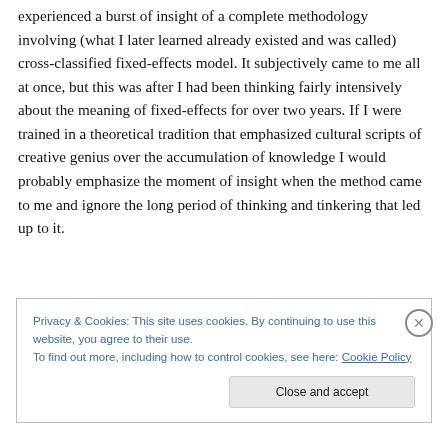experienced a burst of insight of a complete methodology involving (what I later learned already existed and was called) cross-classified fixed-effects model. It subjectively came to me all at once, but this was after I had been thinking fairly intensively about the meaning of fixed-effects for over two years. If I were trained in a theoretical tradition that emphasized cultural scripts of creative genius over the accumulation of knowledge I would probably emphasize the moment of insight when the method came to me and ignore the long period of thinking and tinkering that led up to it.
Privacy & Cookies: This site uses cookies. By continuing to use this website, you agree to their use. To find out more, including how to control cookies, see here: Cookie Policy